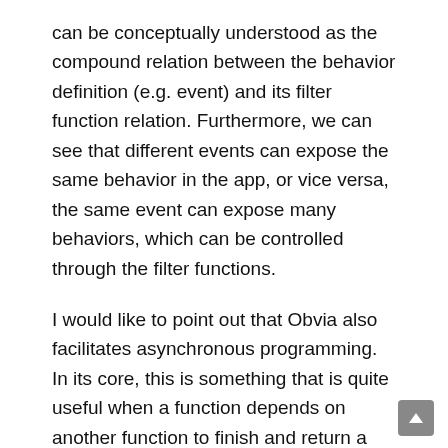can be conceptually understood as the compound relation between the behavior definition (e.g. event) and its filter function relation. Furthermore, we can see that different events can expose the same behavior in the app, or vice versa, the same event can expose many behaviors, which can be controlled through the filter functions.
I would like to point out that Obvia also facilitates asynchronous programming. In its core, this is something that is quite useful when a function depends on another function to finish and return a result. In a normal scenario, the user would have to wait for the first function to finish before actually using the second one, which maybe might take quite a long time. As a simplified description, asynchronous programming lets the user do something else while the function finishes. This is something that is generally quite useful in web development, so that the